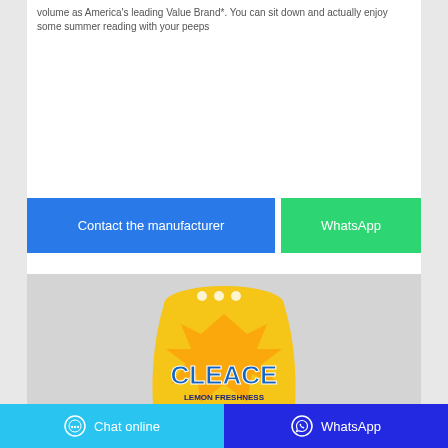volume as America's leading Value Brand*. You can sit down and actually enjoy some summer reading with your peeps
[Figure (screenshot): Two call-to-action buttons: 'Contact the manufacturer' (blue) and 'WhatsApp' (green)]
[Figure (photo): Product photo of a yellow laundry detergent powder bag labeled 'CLEACE LEMON FRESHNESS Antibacterial Washing Powder']
Chat online   WhatsApp